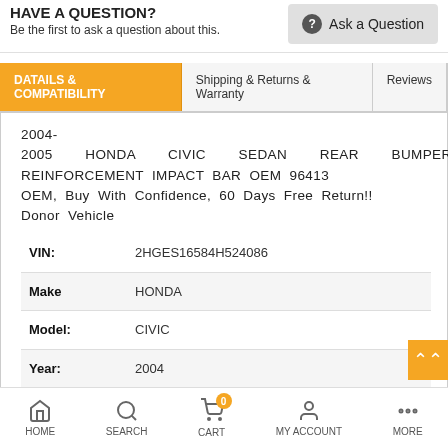HAVE A QUESTION?
Be the first to ask a question about this.
Ask a Question
DATAILS & COMPATIBILITY | Shipping & Returns & Warranty | Reviews
2004-2005 HONDA CIVIC SEDAN REAR BUMPER REINFORCEMENT IMPACT BAR OEM 96413
OEM, Buy With Confidence, 60 Days Free Return!!
Donor Vehicle
| Field | Value |
| --- | --- |
| VIN: | 2HGES16584H524086 |
| Make | HONDA |
| Model: | CIVIC |
| Year: | 2004 |
| Mileage: | 176000 (0 = not available or unknown) |
| Stock: |  |
HOME  SEARCH  CART  MY ACCOUNT  MORE